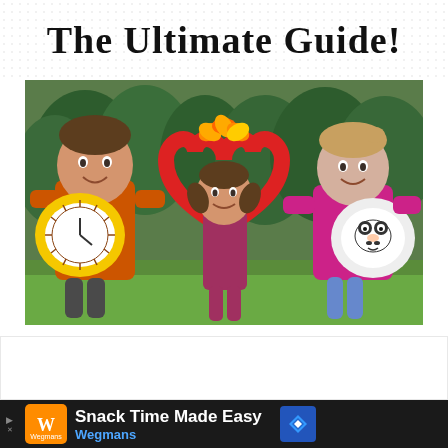The Ultimate Guide!
[Figure (photo): Three children outdoors holding frisbees. The boy on the left in an orange shirt holds a decorated yellow frisbee. A young girl in the middle stands inside a red heart-shaped pool noodle frame decorated with orange flowers. A girl on the right in a pink shirt holds a white frisbee with a panda design. Green trees are visible in the background.]
Snack Time Made Easy
Wegmans